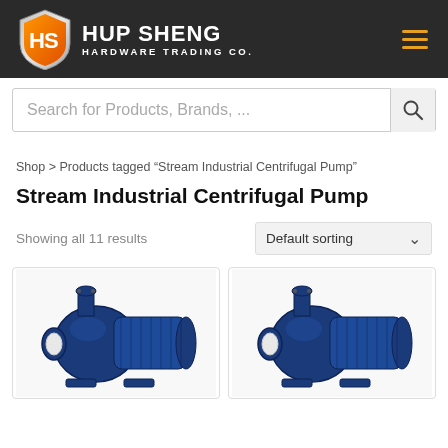[Figure (logo): Hup Sheng Hardware Trading Co. logo with orange/silver HS shield emblem and white text on dark background]
Search for Products, Brands, ...
Shop > Products tagged "Stream Industrial Centrifugal Pump"
Stream Industrial Centrifugal Pump
Showing all 11 results
Default sorting
[Figure (photo): Blue industrial centrifugal pump (left product card)]
[Figure (photo): Blue industrial centrifugal pump (right product card)]